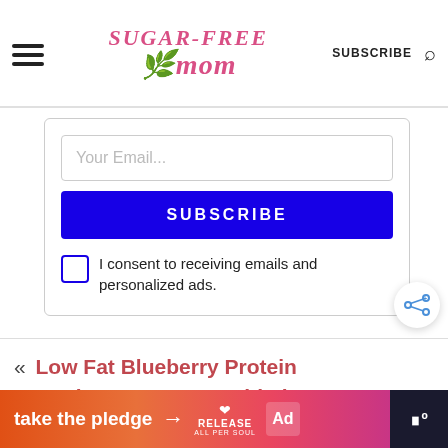Sugar-Free Mom | SUBSCRIBE
Your Email...
SUBSCRIBE
I consent to receiving emails and personalized ads.
« Low Fat Blueberry Protein Pancakes: No Sugar Added
[Figure (screenshot): Ad banner with text 'take the pledge' with an arrow, RELEASE branding and ad icon]
[Figure (infographic): Share icon button (circle with share/connect arrows)]